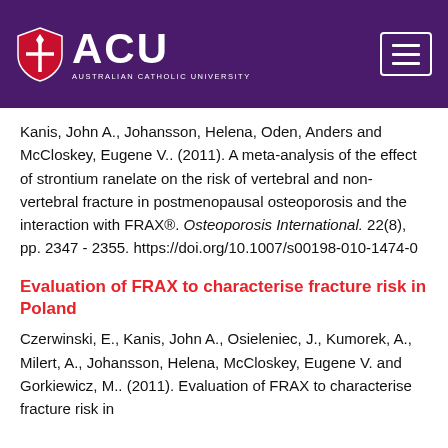[Figure (logo): Australian Catholic University (ACU) logo with shield icon, white text on purple background, with hamburger menu button on right]
Kanis, John A., Johansson, Helena, Oden, Anders and McCloskey, Eugene V.. (2011). A meta-analysis of the effect of strontium ranelate on the risk of vertebral and non-vertebral fracture in postmenopausal osteoporosis and the interaction with FRAX®. Osteoporosis International. 22(8), pp. 2347 - 2355. https://doi.org/10.1007/s00198-010-1474-0
Evaluation of FRAX to characterise fracture risk in Poland
Czerwinski, E., Kanis, John A., Osieleniec, J., Kumorek, A., Milert, A., Johansson, Helena, McCloskey, Eugene V. and Gorkiewicz, M.. (2011). Evaluation of FRAX to characterise fracture risk in